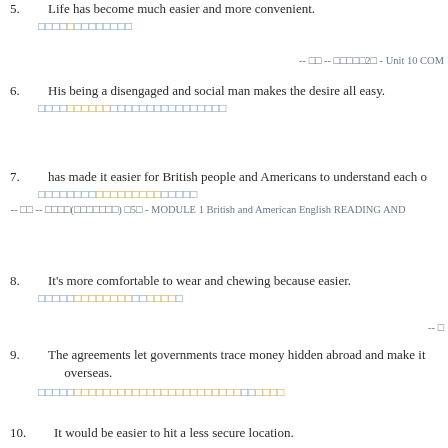5. Life has become much easier and more convenient.
[answer in colored squares]
-- [ref] -- [ref]2[ref] - Unit 10 COM
6. His being a disengaged and social man makes the desire all easy.
[answer in colored squares]
7. has made it easier for British people and Americans to understand each o
[answer in colored squares]
-- [ref] -- [ref]([ref]) [ref]5[ref] - MODULE 1 British and American English READING AND
8. It's more comfortable to wear and chewing because easier.
[answer in colored squares]
-- [ref]
9. The agreements let governments trace money hidden abroad and make it overseas.
[answer in colored squares]
10. It would be easier to hit a less secure location.